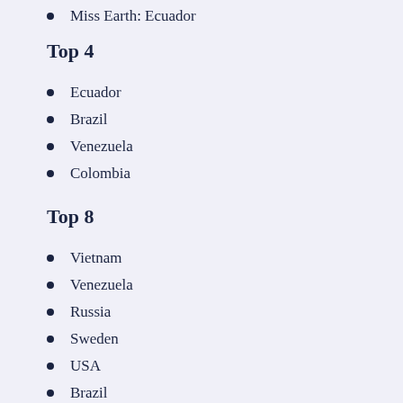Miss Earth: Ecuador
Top 4
Ecuador
Brazil
Venezuela
Colombia
Top 8
Vietnam
Venezuela
Russia
Sweden
USA
Brazil
Colombia
Ecuador